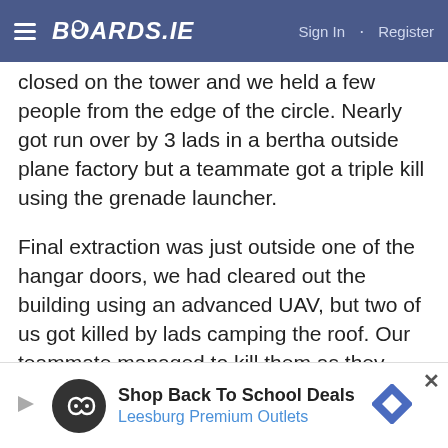BOARDS.IE   Sign In · Register
closed on the tower and we held a few people from the edge of the circle. Nearly got run over by 3 lads in a bertha outside plane factory but a teammate got a triple kill using the grenade launcher.
Final extraction was just outside one of the hangar doors, we had cleared out the building using an advanced UAV, but two of us got killed by lads camping the roof. Our teammate managed to kill them as they tried to push the chopper point.
we were ecstatic after it!
I have to say, I'm really appreciating the current changes they've made. Every weapon seems viable. I
[Figure (infographic): Advertisement banner: Shop Back To School Deals - Leesburg Premium Outlets, with a circular icon showing infinity symbol and a blue navigation arrow, plus a close button X]